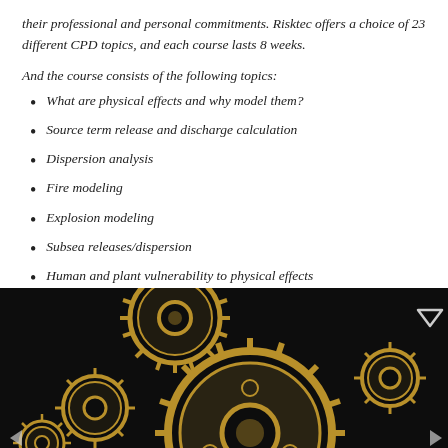their professional and personal commitments. Risktec offers a choice of 23 different CPD topics, and each course lasts 8 weeks.
And the course consists of the following topics:
What are physical effects and why model them?
Source term release and discharge calculation
Dispersion analysis
Fire modeling
Explosion modeling
Subsea releases/dispersion
Human and plant vulnerability to physical effects
Commercial and public domain software tools
[Figure (photo): Dark background with golden mechanical gears of various sizes arranged decoratively, image appears to be part of a website carousel with navigation arrows.]